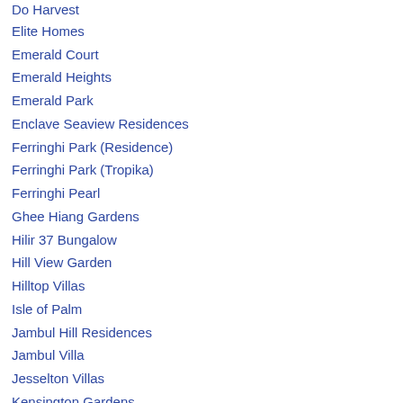Do Harvest
Elite Homes
Emerald Court
Emerald Heights
Emerald Park
Enclave Seaview Residences
Ferringhi Park (Residence)
Ferringhi Park (Tropika)
Ferringhi Pearl
Ghee Hiang Gardens
Hilir 37 Bungalow
Hill View Garden
Hilltop Villas
Isle of Palm
Jambul Hill Residences
Jambul Villa
Jesselton Villas
Kensington Gardens
La Ferringhi